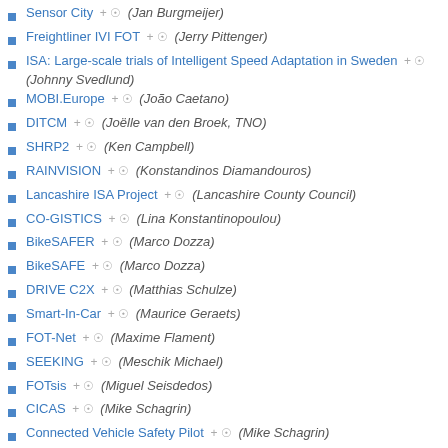Sensor City + (Jan Burgmeijer)
Freightliner IVI FOT + (Jerry Pittenger)
ISA: Large-scale trials of Intelligent Speed Adaptation in Sweden + (Johnny Svedlund)
MOBI.Europe + (João Caetano)
DITCM + (Joëlle van den Broek, TNO)
SHRP2 + (Ken Campbell)
RAINVISION + (Konstandinos Diamandouros)
Lancashire ISA Project + (Lancashire County Council)
CO-GISTICS + (Lina Konstantinopoulou)
BikeSAFER + (Marco Dozza)
BikeSAFE + (Marco Dozza)
DRIVE C2X + (Matthias Schulze)
Smart-In-Car + (Maurice Geraets)
FOT-Net + (Maxime Flament)
SEEKING + (Meschik Michael)
FOTsis + (Miguel Seisdedos)
CICAS + (Mike Schagrin)
Connected Vehicle Safety Pilot + (Mike Schagrin)
UDRIVE + (Nicole van Nes)
Intelligent Speed Adaptation trials + (Oliver Carsten)
AOS + (Paul Potters)